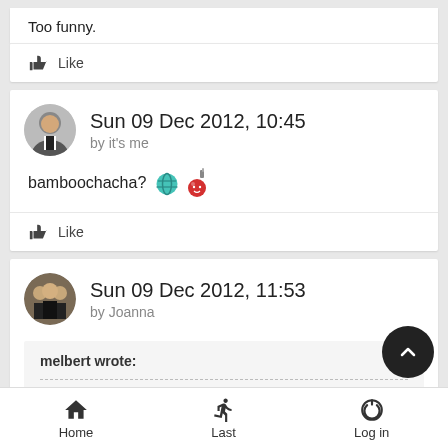Too funny.
Like
Sun 09 Dec 2012, 10:45
by it's me
bamboochacha? 🌐 🎵
Like
Sun 09 Dec 2012, 11:53
by Joanna
melbert wrote:
Home  Last  Log in